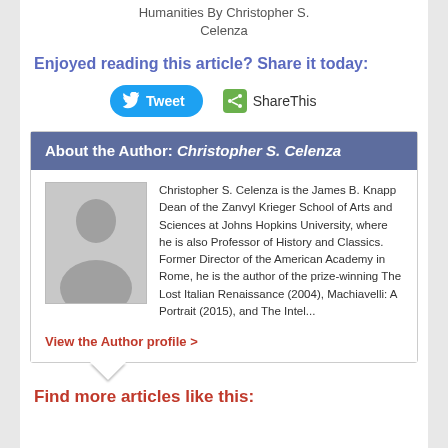Humanities By Christopher S. Celenza
Enjoyed reading this article? Share it today:
[Figure (screenshot): Tweet and ShareThis social sharing buttons]
About the Author: Christopher S. Celenza
[Figure (photo): Placeholder silhouette profile photo of the author]
Christopher S. Celenza is the James B. Knapp Dean of the Zanvyl Krieger School of Arts and Sciences at Johns Hopkins University, where he is also Professor of History and Classics. Former Director of the American Academy in Rome, he is the author of the prize-winning The Lost Italian Renaissance (2004), Machiavelli: A Portrait (2015), and The Intel...
View the Author profile >
Find more articles like this: